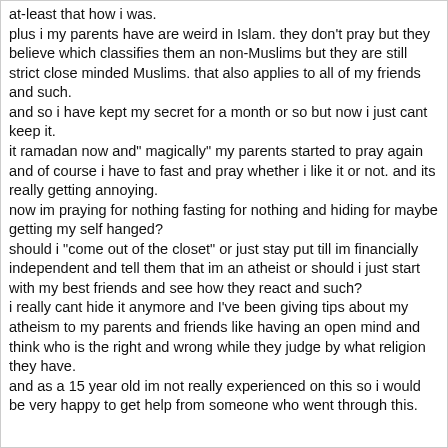at-least that how i was.
plus i my parents have are weird in Islam. they don't pray but they believe which classifies them an non-Muslims but they are still strict close minded Muslims. that also applies to all of my friends and such.
and so i have kept my secret for a month or so but now i just cant keep it.
it ramadan now and" magically" my parents started to pray again and of course i have to fast and pray whether i like it or not. and its really getting annoying.
now im praying for nothing fasting for nothing and hiding for maybe getting my self hanged?
should i "come out of the closet" or just stay put till im financially independent and tell them that im an atheist or should i just start with my best friends and see how they react and such?
i really cant hide it anymore and I've been giving tips about my atheism to my parents and friends like having an open mind and think who is the right and wrong while they judge by what religion they have.
and as a 15 year old im not really experienced on this so i would be very happy to get help from someone who went through this.
Btw sorry for any grammatical of spelling errors.
not that good with English.